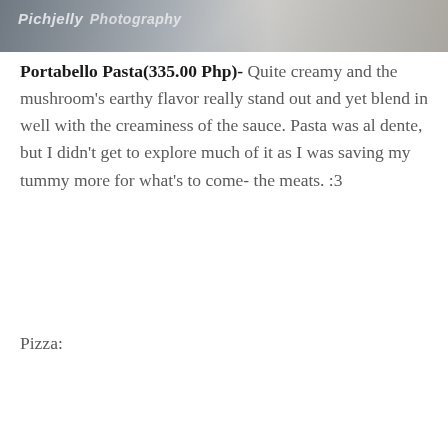[Figure (photo): Top portion of a food photo with Pichjelly Photography watermark, showing blurred food items]
Portabello Pasta(335.00 Php)- Quite creamy and the mushroom's earthy flavor really stand out and yet blend in well with the creaminess of the sauce. Pasta was al dente, but I didn't get to explore much of it as I was saving my tummy more for what's to come- the meats. :3
Pizza:
[Figure (photo): Close-up photo of a pizza topped with shrimp, mushrooms, herbs, and melted cheese on a wooden table, with glasses and plates visible in the background]